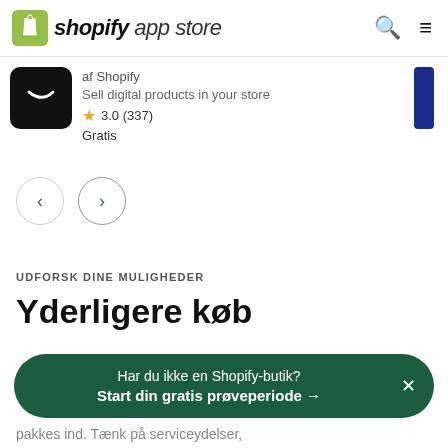shopify app store
af Shopify
Sell digital products in your store
3.0 (337)
Gratis
[Figure (screenshot): Navigation arrows: left arrow (inactive) and right arrow (green/active) carousel controls]
UDFORSK DINE MULIGHEDER
Yderligere køb
pakkes ind. Tænk på serviceydelser,
Har du ikke en Shopify-butik?
Start din gratis prøveperiode →